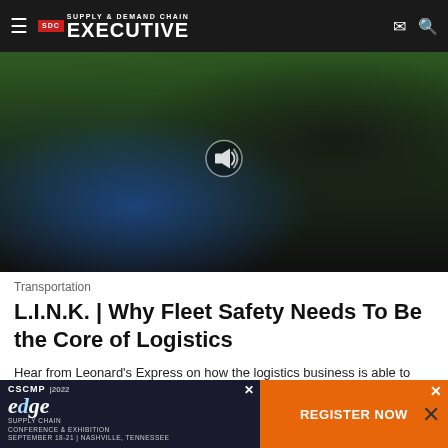Supply & Demand Chain Executive
[Figure (photo): A delivery driver in a blue shirt driving a vehicle, holding the steering wheel, with a cardboard box on the seat. A sound/mute icon overlay is visible in the center of the image.]
Transportation
L.I.N.K. | Why Fleet Safety Needs To Be the Core of Logistics
Hear from Leonard's Express on how the logistics business is able to drive fleet safety and make safety a core of its
[Figure (other): Advertisement banner for CSCMP 2022 Edge Supply Chain Conference & Exhibition, September 18-21, Nashville, Tennessee. Left side has dark background with CSCMP 2022 Edge logo. Right side has orange background with 'REGISTER NOW' text and an X close button.]